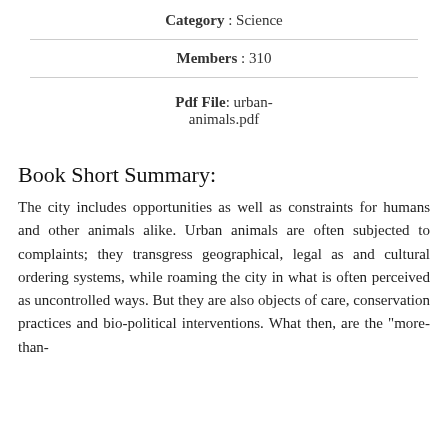Category : Science
Members : 310
Pdf File: urban-animals.pdf
Book Short Summary:
The city includes opportunities as well as constraints for humans and other animals alike. Urban animals are often subjected to complaints; they transgress geographical, legal as and cultural ordering systems, while roaming the city in what is often perceived as uncontrolled ways. But they are also objects of care, conservation practices and bio-political interventions. What then, are the "more-than-